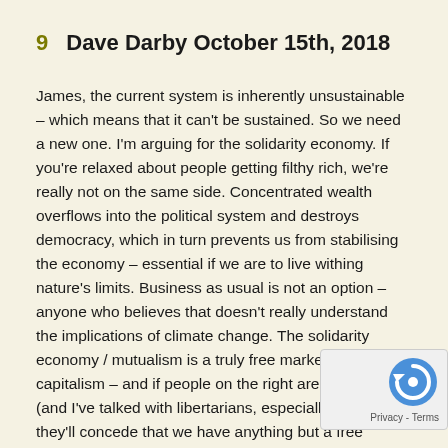9   Dave Darby October 15th, 2018
James, the current system is inherently unsustainable – which means that it can't be sustained. So we need a new one. I'm arguing for the solidarity economy. If you're relaxed about people getting filthy rich, we're really not on the same side. Concentrated wealth overflows into the political system and destroys democracy, which in turn prevents us from stabilising the economy – essential if we are to live withing nature's limits. Business as usual is not an option – anyone who believes that doesn't really understand the implications of climate change. The solidarity economy / mutualism is a truly free market, unlike capitalism – and if people on the right are consiste (and I've talked with libertarians, especially, who a they'll concede that we have anything but a free